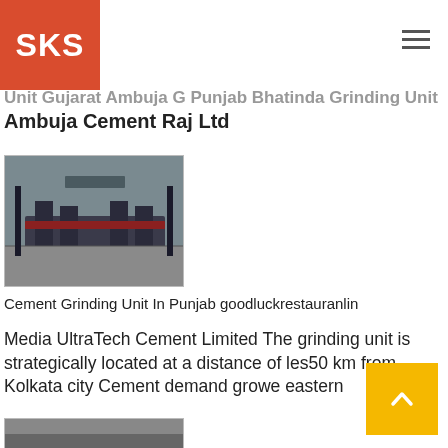SKS
Unit Gujarat Ambuja G Punjab Bhatinda Grinding Unit Ambuja Cement Raj Ltd
[Figure (photo): Industrial cement grinding unit machinery photo]
Cement Grinding Unit In Punjab goodluckrestauranlin
Media UltraTech Cement Limited The grinding unit is strategically located at a distance of less than 50 km from Kolkata city Cement demand grows in the eastern
[Figure (photo): Second industrial photo (partially visible at bottom)]